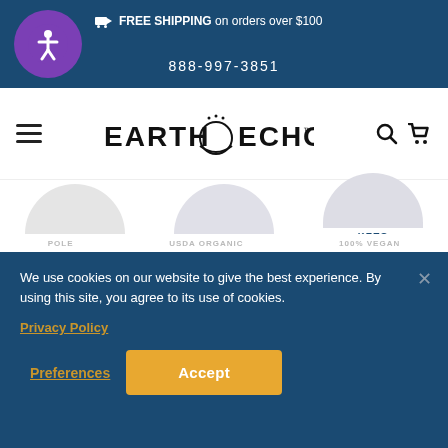FREE SHIPPING on orders over $100 | 888-997-3851
[Figure (logo): Earth Echo logo with circular sun/moon icon between the words EARTH and ECHO]
DAIRY FREE | GLUTEN FREE | KETO FRIENDLY
We use cookies on our website to give the best experience. By using this site, you agree to its use of cookies.
Privacy Policy
Preferences
Accept